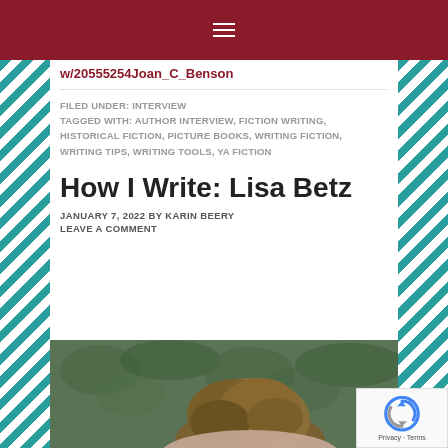≡ (hamburger menu)
w/20555254Joan_C_Benson
FILED UNDER: INTERVIEW
TAGGED WITH: AUTHOR INTERVIEW, FICTION WRITING, HISTORICAL FICTION, PICTURE BOOKS, WRITING FICTION, WRITING TIPS, WRITING TOOLS, YA FICTION
How I Write: Lisa Betz
JANUARY 7, 2022 BY KARIN BEERY
LEAVE A COMMENT
[Figure (photo): Photo of Lisa Betz, a woman with brown hair, photographed from behind/side against a green leafy background]